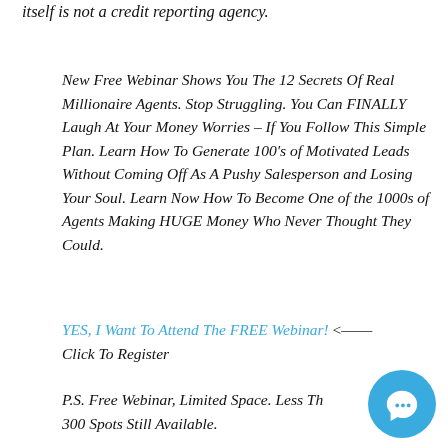agencies — Equifax, Experian or TransUnion. But FICO itself is not a credit reporting agency.
New Free Webinar Shows You The 12 Secrets Of Real Millionaire Agents. Stop Struggling. You Can FINALLY Laugh At Your Money Worries – If You Follow This Simple Plan. Learn How To Generate 100's of Motivated Leads Without Coming Off As A Pushy Salesperson and Losing Your Soul. Learn Now How To Become One of the 1000s of Agents Making HUGE Money Who Never Thought They Could.
YES, I Want To Attend The FREE Webinar! <–– Click To Register
P.S. Free Webinar, Limited Space. Less Th… 300 Spots Still Available.